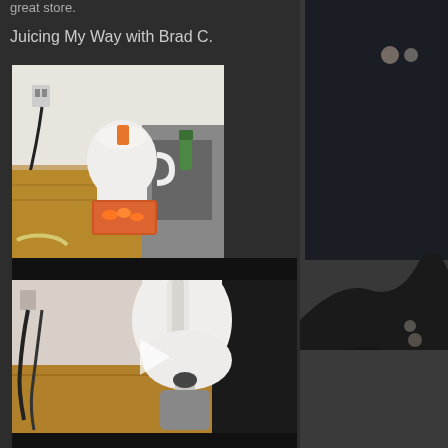great store.
Juicing My Way with Brad C.
[Figure (photo): A white juicer/meat grinder appliance on a wooden kitchen counter with orange carrots in a clear container, banana peels nearby, near a sink and electrical outlet]
[Figure (screenshot): A video thumbnail showing a close-up of a white juicer appliance with a play button overlay, dark bars at top and bottom indicating video player UI]